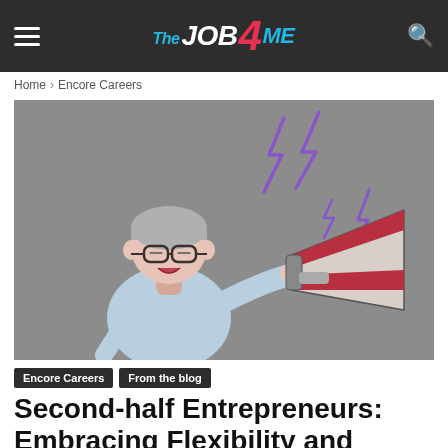The JOB 4 ME
Home › Encore Careers
[Figure (illustration): Cartoon illustration of a person with short gray hair and glasses wearing a light blue long-sleeve top, shouting into a megaphone. Purple lightning bolt shapes radiate from the megaphone on a gray background.]
Encore Careers   From the blog
Second-half Entrepreneurs: Embracing Flexibility and